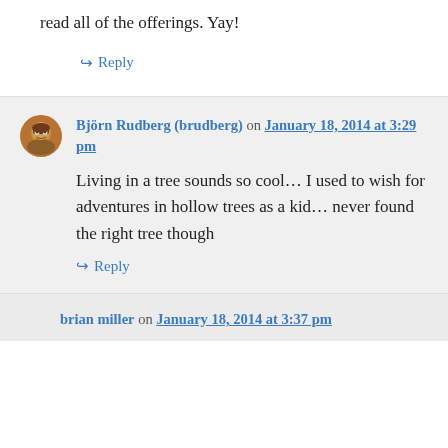read all of the offerings. Yay!
↪ Reply
Björn Rudberg (brudberg) on January 18, 2014 at 3:29 pm
Living in a tree sounds so cool… I used to wish for adventures in hollow trees as a kid… never found the right tree though
↪ Reply
brian miller on January 18, 2014 at 3:37 pm